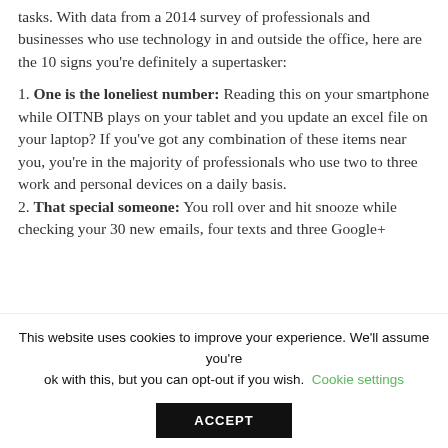tasks. With data from a 2014 survey of professionals and businesses who use technology in and outside the office, here are the 10 signs you're definitely a supertasker:
1. One is the loneliest number: Reading this on your smartphone while OITNB plays on your tablet and you update an excel file on your laptop? If you've got any combination of these items near you, you're in the majority of professionals who use two to three work and personal devices on a daily basis.
2. That special someone: You roll over and hit snooze while checking your 30 new emails, four texts and three Google+
This website uses cookies to improve your experience. We'll assume you're ok with this, but you can opt-out if you wish. Cookie settings
ACCEPT